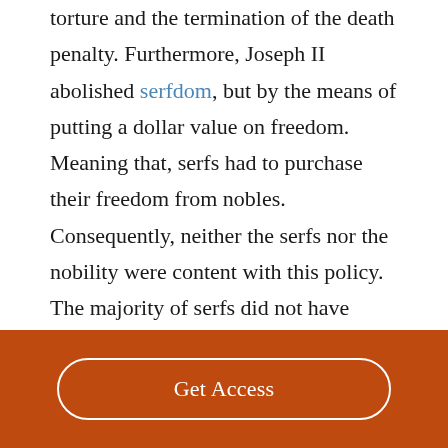torture and the termination of the death penalty. Furthermore, Joseph II abolished serfdom, but by the means of putting a dollar value on freedom. Meaning that, serfs had to purchase their freedom from nobles. Consequently, neither the serfs nor the nobility were content with this policy. The majority of serfs did not have enough money to buy their freedom, while the nobility lost power over their property.
Get Access